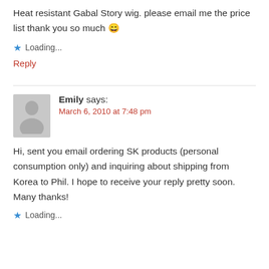Heat resistant Gabal Story wig. please email me the price list thank you so much 😁
★ Loading...
Reply
Emily says:
March 6, 2010 at 7:48 pm
Hi, sent you email ordering SK products (personal consumption only) and inquiring about shipping from Korea to Phil. I hope to receive your reply pretty soon. Many thanks!
★ Loading...